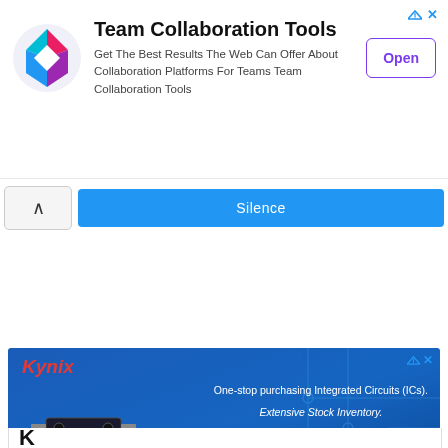[Figure (screenshot): Top advertisement banner for 'Team Collaboration Tools' with colorful logo, description text, and purple 'Open' button]
Silence
[Figure (screenshot): Kynix advertisement banner showing an IC chip, circuit board background, Kynix logo in red italic text, and text: 'One-stop purchasing Integrated Circuits (ICs). Extensive Stock Inventory. 100% Guaranteed Quality.']
Kynix Semiconductor